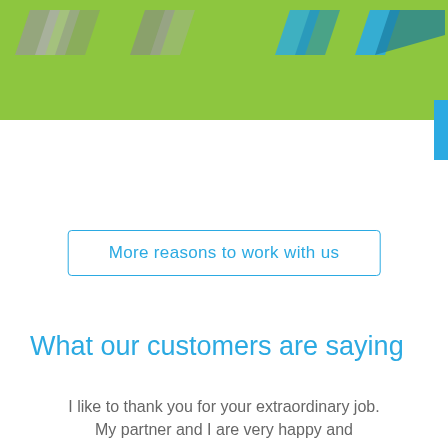[Figure (illustration): Green banner at top with decorative chevron/arrow shapes in grey and blue tones, with a blue sidebar element on the right edge]
More reasons to work with us
What our customers are saying
I like to thank you for your extraordinary job. My partner and I are very happy and